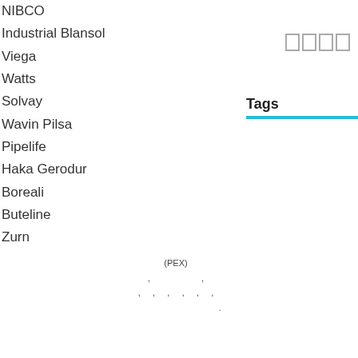NIBCO
Industrial Blansol
Viega
Watts
Solvay
Wavin Pilsa
Pipelife
Haka Gerodur
Boreali
Buteline
Zurn
Tags
(PEX)
, ,
, , , , , ,
.